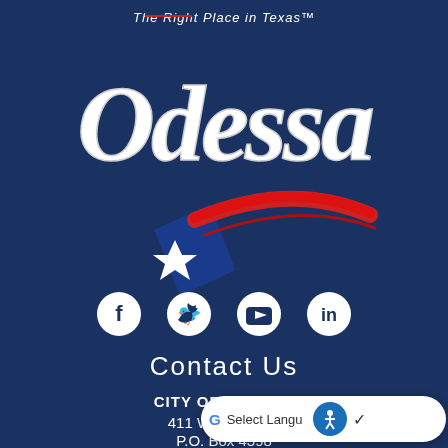[Figure (logo): City of Odessa Texas logo with 'The Right Place in Texas' tagline, large stylized 'Odessa' text in white, and a shooting star graphic with Texas flag colors (blue, white star, red swoosh)]
[Figure (infographic): Social media icons row: Facebook, Twitter, YouTube, LinkedIn - white icons on dark navy blue circles]
Contact Us
CITY OF ODESSA
411 W 8th Street
P.O. Box 4398